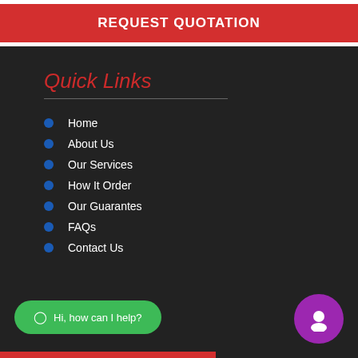REQUEST QUOTATION
Quick Links
Home
About Us
Our Services
How It Order
Our Guarantes
FAQs
Contact Us
Hi, how can I help?